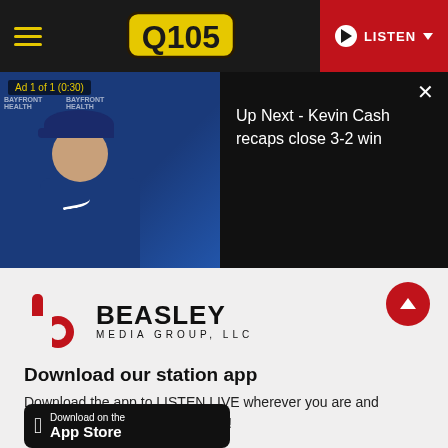Q105 - LISTEN
[Figure (screenshot): Video player showing Ad 1 of 1 (0:30) with baseball manager Kevin Cash in a press conference setting, blue Tampa Bay Rays backdrop. Right side shows black panel with text 'Up Next - Kevin Cash recaps close 3-2 win' and a close X button.]
Ad 1 of 1 (0:30)
Up Next - Kevin Cash recaps close 3-2 win
[Figure (logo): Beasley Media Group LLC logo - red stylized b icon with BEASLEY in large bold black text and MEDIA GROUP, LLC below in smaller spaced text]
Download our station app
Download the app to LISTEN LIVE wherever you are and connect with us like never before!
[Figure (screenshot): Download on the App Store black button]